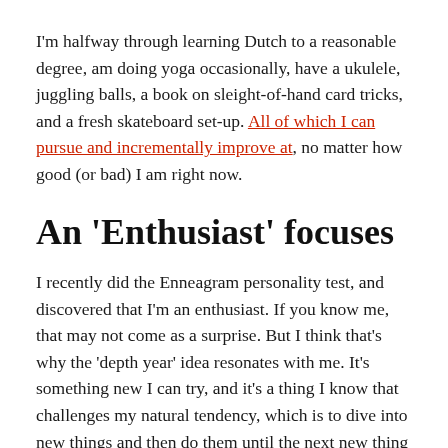I'm halfway through learning Dutch to a reasonable degree, am doing yoga occasionally, have a ukulele, juggling balls, a book on sleight-of-hand card tricks, and a fresh skateboard set-up. All of which I can pursue and incrementally improve at, no matter how good (or bad) I am right now.
An 'Enthusiast' focuses
I recently did the Enneagram personality test, and discovered that I'm an enthusiast. If you know me, that may not come as a surprise. But I think that's why the 'depth year' idea resonates with me. It's something new I can try, and it's a thing I know that challenges my natural tendency, which is to dive into new things and then do them until the next new thing comes along.